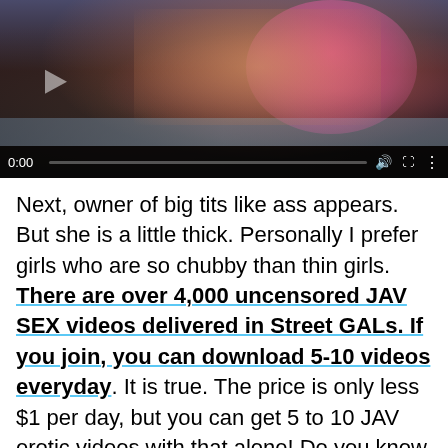[Figure (screenshot): Video player screenshot showing a video paused at 0:00 with controls bar at the bottom including time display, progress bar, volume icon, fullscreen icon, and options icon. Video content shows a person in a pink bikini top near a pool.]
Next, owner of big tits like ass appears. But she is a little thick. Personally I prefer girls who are so chubby than thin girls. There are over 4,000 uncensored JAV SEX videos delivered in Street GALs. If you join, you can download 5-10 videos everyday. It is true. The price is only less $1 per day, but you can get 5 to 10 JAV erotic videos with that alone! Do you know how much this is affordable? If you do not know the Street GALs, you really will be…it…